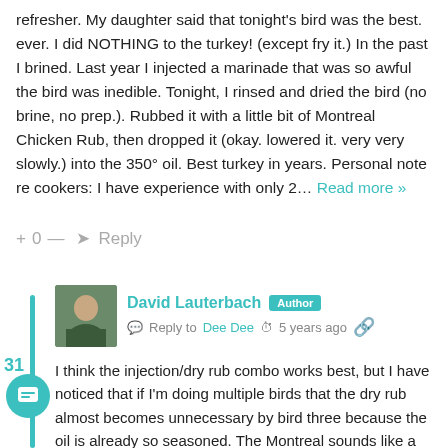refresher. My daughter said that tonight's bird was the best. ever. I did NOTHING to the turkey! (except fry it.) In the past I brined. Last year I injected a marinade that was so awful the bird was inedible. Tonight, I rinsed and dried the bird (no brine, no prep.). Rubbed it with a little bit of Montreal Chicken Rub, then dropped it (okay. lowered it. very very slowly.) into the 350° oil. Best turkey in years. Personal note re cookers: I have experience with only 2... Read more »
+ 0 — → Reply
David Lauterbach  Author
Reply to Dee Dee  5 years ago
I think the injection/dry rub combo works best, but I have noticed that if I'm doing multiple birds that the dry rub almost becomes unnecessary by bird three because the oil is already so seasoned. The Montreal sounds like a nice variation. Thanks for your continued patronage!